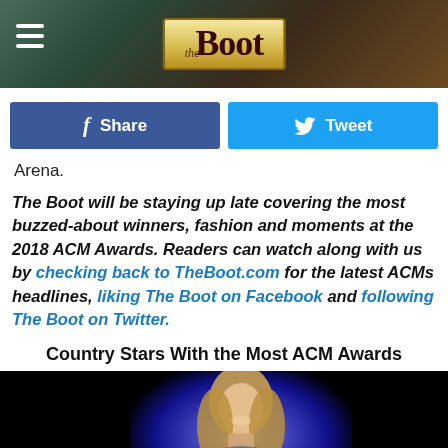the Boot
Share   Tweet
Arena.
The Boot will be staying up late covering the most buzzed-about winners, fashion and moments at the 2018 ACM Awards. Readers can watch along with us by checking back to TheBoot.com for the latest ACMs headlines, liking The Boot on Facebook and following The Boot on Twitter.
Country Stars With the Most ACM Awards
[Figure (photo): Photo of a woman (blonde) at what appears to be the ACM Awards, lit from behind with blue/purple stage lighting. Black areas on left and right sides.]